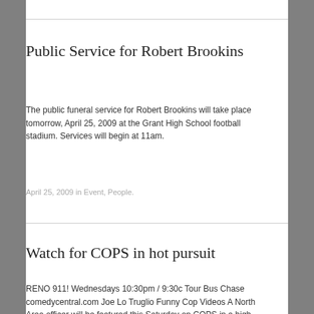Public Service for Robert Brookins
The public funeral service for Robert Brookins will take place tomorrow, April 25, 2009 at the Grant High School football stadium. Services will begin at 11am.
April 25, 2009 in Event, People.
Watch for COPS in hot pursuit
RENO 911! Wednesdays 10:30pm / 9:30c Tour Bus Chase comedycentral.com Joe Lo Truglio Funny Cop Videos A North Area officer will be featured this Saturday on COPS in a high speed pursuit. The episode will air at 8:30pm on FOX.